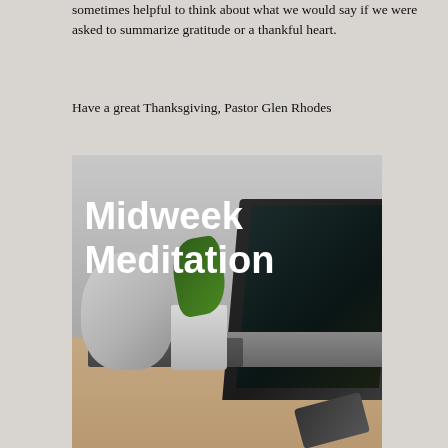sometimes helpful to think about what we would say if we were asked to summarize gratitude or a thankful heart.
Have a great Thanksgiving, Pastor Glen Rhodes
[Figure (photo): A desk scene with a laptop computer, a white cup, a potted plant, and a smartphone on a wooden surface, with the text 'Midweek Meditation' overlaid in bold white text.]